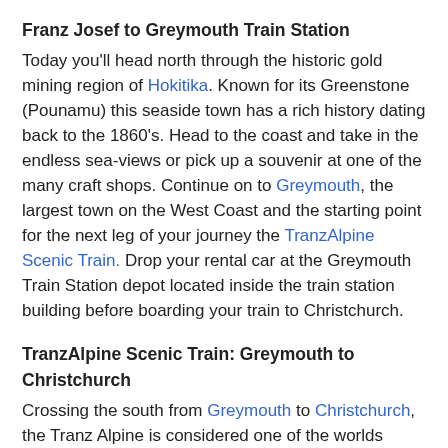Franz Josef to Greymouth Train Station
Today you'll head north through the historic gold mining region of Hokitika. Known for its Greenstone (Pounamu) this seaside town has a rich history dating back to the 1860's. Head to the coast and take in the endless sea-views or pick up a souvenir at one of the many craft shops. Continue on to Greymouth, the largest town on the West Coast and the starting point for the next leg of your journey the TranzAlpine Scenic Train. Drop your rental car at the Greymouth Train Station depot located inside the train station building before boarding your train to Christchurch.
TranzAlpine Scenic Train: Greymouth to Christchurch
Crossing the south from Greymouth to Christchurch, the Tranz Alpine is considered one of the worlds greatest train journeys. You'll travel from east to the west of the south island through Arthur's Pass National Park.
From the comfort of your carriage see lush beech forest, deep river